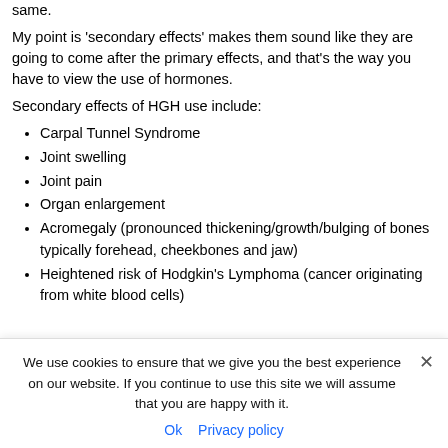same.
My point is 'secondary effects' makes them sound like they are going to come after the primary effects, and that's the way you have to view the use of hormones.
Secondary effects of HGH use include:
Carpal Tunnel Syndrome
Joint swelling
Joint pain
Organ enlargement
Acromegaly (pronounced thickening/growth/bulging of bones typically forehead, cheekbones and jaw)
Heightened risk of Hodgkin's Lymphoma (cancer originating from white blood cells)
We use cookies to ensure that we give you the best experience on our website. If you continue to use this site we will assume that you are happy with it. Ok Privacy policy